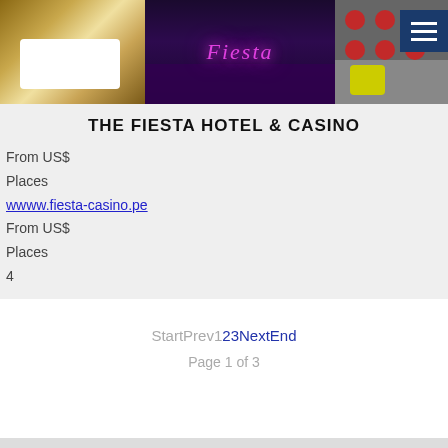[Figure (photo): Three-panel photo strip: hotel bedroom with white bed linens (left), Fiesta Casino illuminated exterior at night with purple neon signage (center), modern lounge area with red chairs (right). Menu icon (hamburger button) in top-right corner.]
THE FIESTA HOTEL & CASINO
From US$
Places
www.fiesta-casino.pe
From US$
Places
4
StartPrev123NextEnd  Page 1 of 3